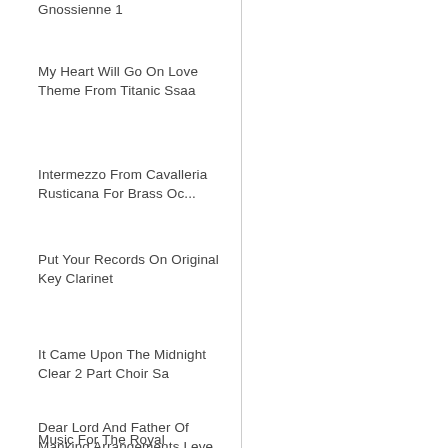Gnossienne 1
My Heart Will Go On Love Theme From Titanic Ssaa
Intermezzo From Cavalleria Rusticana For Brass Oc...
Put Your Records On Original Key Clarinet
It Came Upon The Midnight Clear 2 Part Choir Sa
Dear Lord And Father Of Mankind Arrangements Leve...
Music For The Royal